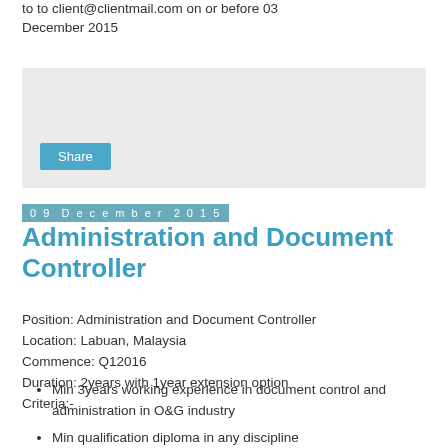to to client@clientmail.com on or before 03 December 2015
[Figure (other): Gray box with a Share button]
09 December 2015
Administration and Document Controller
Position: Administration and Document Controller
Location: Labuan, Malaysia
Commence: Q12016
Duration: 2years with 1year extension option
Criteria:-
Min 3years working experience in document control and administration in O&G industry
Min qualification diploma in any discipline
Applicant to submit comprehensive resume